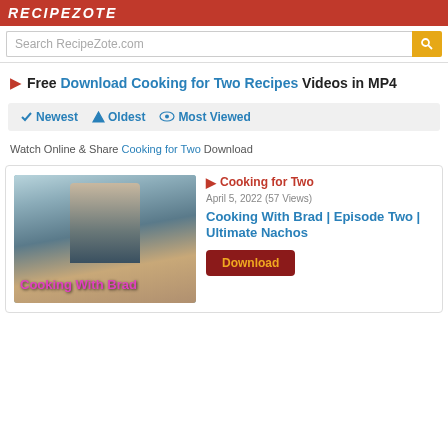RECIPEZOTE
Search RecipeZote.com
Free Download Cooking for Two Recipes Videos in MP4
Newest  Oldest  Most Viewed
Watch Online & Share Cooking for Two Download
[Figure (screenshot): Thumbnail showing a person cooking with overlay text 'Cooking With Brad']
Cooking for Two
April 5, 2022 (57 Views)
Cooking With Brad | Episode Two | Ultimate Nachos
Download